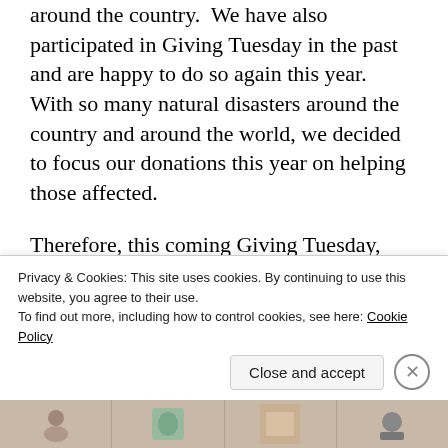around the country. We have also participated in Giving Tuesday in the past and are happy to do so again this year. With so many natural disasters around the country and around the world, we decided to focus our donations this year on helping those affected.

Therefore, this coming Giving Tuesday, November 27, 2018, Hale Pet Door will be donating 10% of our net sales to the Humane Society of Ventura County and the North Valley Animal Disaster Group to assist them as
Privacy & Cookies: This site uses cookies. By continuing to use this website, you agree to their use.
To find out more, including how to control cookies, see here: Cookie Policy
[Figure (photo): Image strip at bottom of page showing partial thumbnail images]